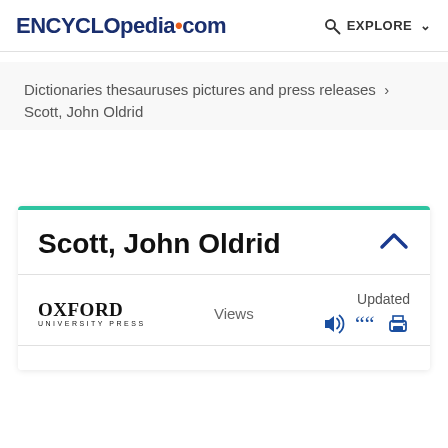ENCYCLopedia.com  EXPLORE
Dictionaries thesauruses pictures and press releases ›
Scott, John Oldrid
Scott, John Oldrid
[Figure (logo): Oxford University Press logo with text OXFORD UNIVERSITY PRESS]
Views
Updated